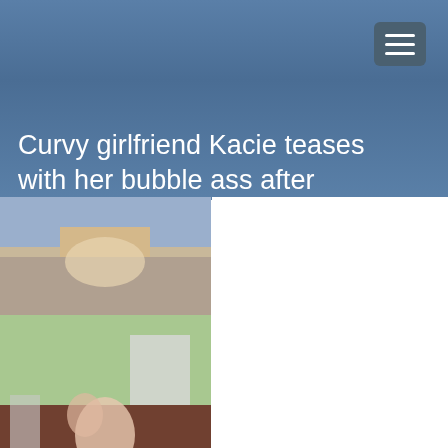Curvy girlfriend Kacie teases with her bubble ass after stripping to nylons
[Figure (photo): Thumbnail photo at top showing person from behind in a room]
[Figure (photo): Thumbnail photo showing person from behind near a computer desk]
[Figure (illustration): 3D rendered illustration of a female character with brown hair, shown from upper body]